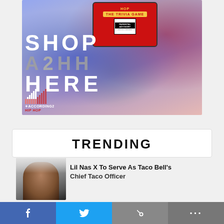[Figure (photo): Promotional banner for According 2 Hip Hop merchandise store featuring tablet showing 'The Trivia Game' with Parental Advisory label, bold white text reading 'SHOP A2HH HERE' on colorful background with blue, red, and green lighting effects, According 2 Hip Hop logo in bottom left]
TRENDING
Lil Nas X To Serve As Taco Bell's Chief Taco Officer
[Figure (photo): Thumbnail photo of Lil Nas X, young Black man with short hair wearing white outfit against grey background]